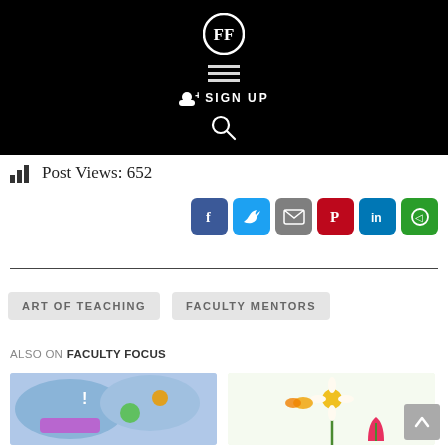[Figure (logo): Faculty Focus logo (FF letters in circle) with hamburger menu, sign up, and search icons on black header]
Post Views: 652
[Figure (infographic): Social share buttons: Facebook, Twitter, Email, Pinterest, LinkedIn, and another share icon]
ART OF TEACHING
FACULTY MENTORS
ALSO ON FACULTY FOCUS
[Figure (photo): Thumbnail image: colorful illustrated art with exclamation mark and various drawings]
[Figure (photo): Thumbnail image: illustration of flowers (daisy, tulip) with butterflies]